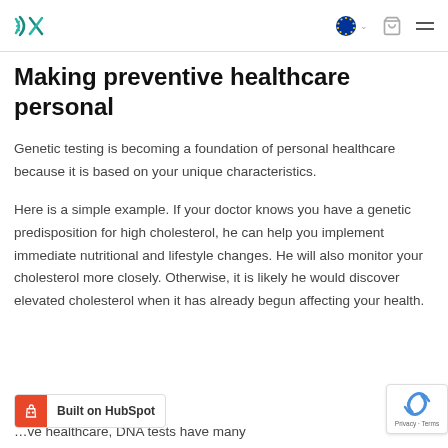Navigation header with logo, EU flag language selector, cart, and hamburger menu
Making preventive healthcare personal
Genetic testing is becoming a foundation of personal healthcare because it is based on your unique characteristics.
Here is a simple example. If your doctor knows you have a genetic predisposition for high cholesterol, he can help you implement immediate nutritional and lifestyle changes. He will also monitor your cholesterol more closely. Otherwise, it is likely he would discover elevated cholesterol when it has already begun affecting your health.
…ve healthcare, DNA tests have many